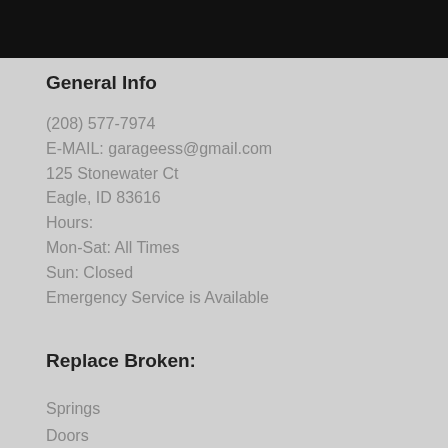General Info
(208) 577-7974
E-MAIL: garageess@gmail.com
125 Stonewater Ct
Eagle, ID 83616
Hours:
Mon-Sat: All Times
Sun: Closed
Emergency Service is Available
Replace Broken:
Springs
Doors